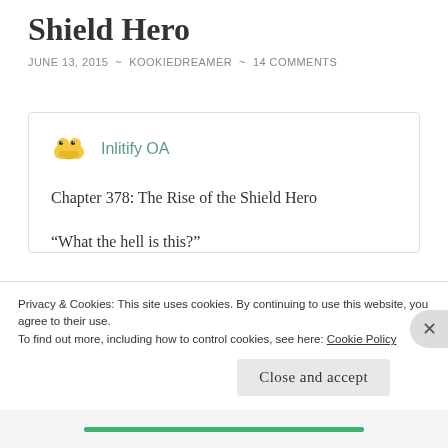Chapter 378: The Rise of the Shield Hero
JUNE 13, 2015 ~ KOOKIEDREAMER ~ 14 COMMENTS
Inlitify OA
Chapter 378: The Rise of the Shield Hero
“What the hell is this?”
I unintentionally raised a laugh.
Privacy & Cookies: This site uses cookies. By continuing to use this website, you agree to their use.
To find out more, including how to control cookies, see here: Cookie Policy
Close and accept